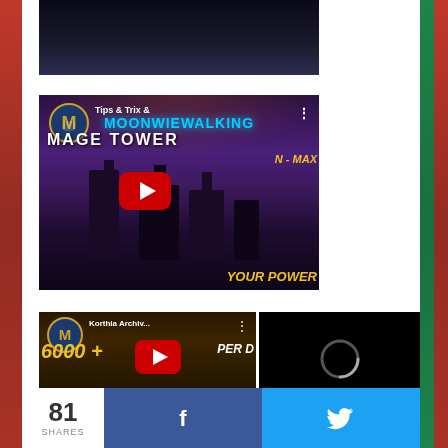[Figure (screenshot): Partial YouTube video thumbnail at top, dark fantasy game scene]
[Figure (screenshot): YouTube video thumbnail: 'Tips & Trix & Moonwiewalking - MAGE TOWER - MAX YOUR POWER' gaming video with play button]
[Figure (screenshot): YouTube video thumbnail: 'Korthia Archiv...' showing '6000+ GOTOL PER D' with play button overlay]
[Figure (screenshot): Black panel with loading circle icon to the right of the third video thumbnail]
81
SHARES
[Figure (screenshot): Facebook share button (blue with f icon)]
[Figure (screenshot): Twitter share button (light blue with bird icon)]